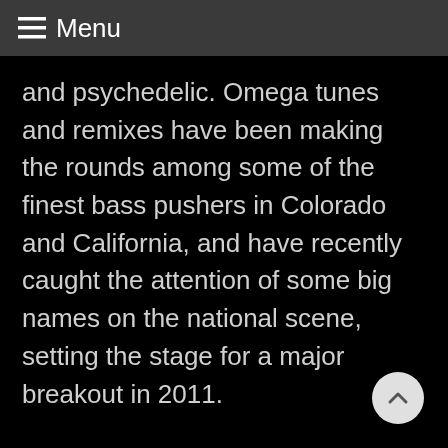≡ Menu
and psychedelic. Omega tunes and remixes have been making the rounds among some of the finest bass pushers in Colorado and California, and have recently caught the attention of some big names on the national scene, setting the stage for a major breakout in 2011.